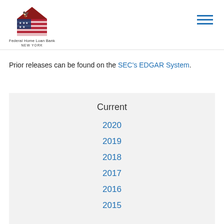[Figure (logo): Federal Home Loan Bank New York logo — house with American flag and eagle, with text 'Federal Home Loan Bank NEW YORK']
Prior releases can be found on the SEC's EDGAR System.
Current
2020
2019
2018
2017
2016
2015